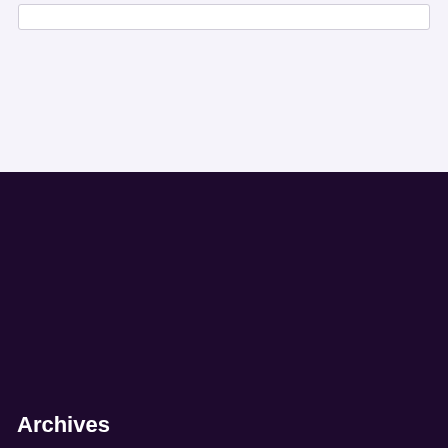Archives
May 2020
April 2020
Categories